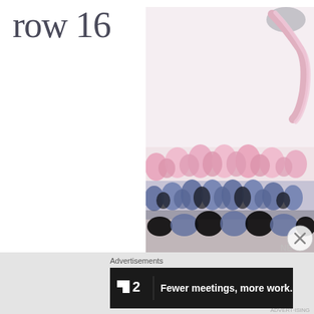row 16
[Figure (photo): Close-up photo of crochet work showing pink and blue yarn rows, with a crochet hook visible at the top right corner. The pink row forms shell-like stitches above a row of blue stitches.]
Advertisements
[Figure (screenshot): Advertisement banner for Nuclino (F2 logo) with dark background and text: Fewer meetings, more work.]